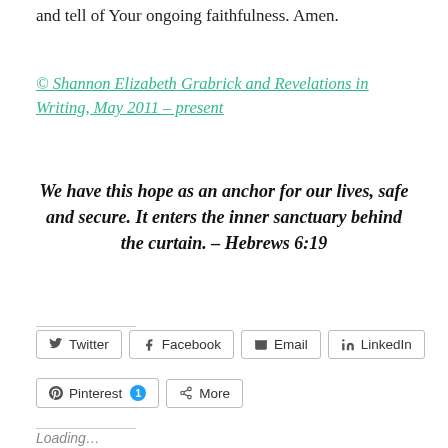and tell of Your ongoing faithfulness. Amen.
© Shannon Elizabeth Grabrick and Revelations in Writing, May 2011 – present
We have this hope as an anchor for our lives, safe and secure. It enters the inner sanctuary behind the curtain. – Hebrews 6:19
Twitter Facebook Email LinkedIn Pinterest 1 More
Loading...